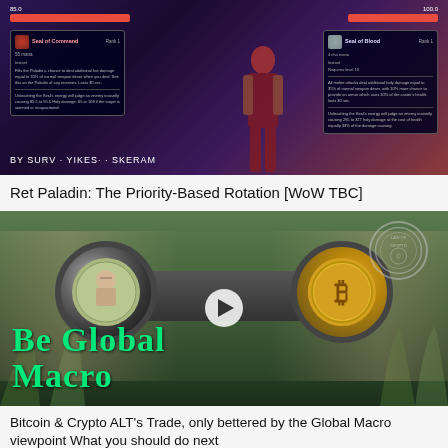[Figure (screenshot): Video thumbnail for 'Ret Paladin: The Priority-Based Rotation [WoW TBC]' showing a World of Warcraft game UI with health bars and character panels, byline reads 'BY SURV · YIKES· · SKERAM']
Ret Paladin: The Priority-Based Rotation [WoW TBC]
[Figure (photo): Video thumbnail showing hands holding binoculars, with a $100 bill face in the left lens and a Bitcoin coin in the right lens. Green text reads 'Be Global Macro'. A play button is centered.]
Bitcoin & Crypto ALT's Trade, only bettered by the Global Macro viewpoint What you should do next